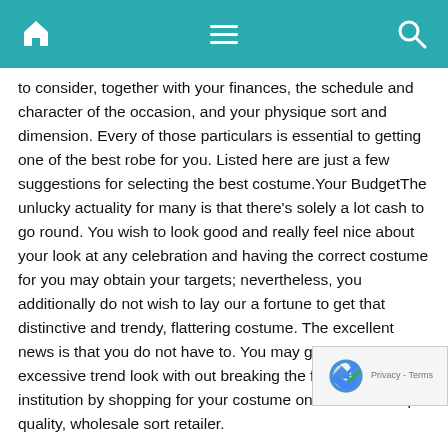Navigation bar with home, menu, and search icons
to consider, together with your finances, the schedule and character of the occasion, and your physique sort and dimension. Every of those particulars is essential to getting one of the best robe for you. Listed here are just a few suggestions for selecting the best costume.Your BudgetThe unlucky actuality for many is that there's solely a lot cash to go round. You wish to look good and really feel nice about your look at any celebration and having the correct costume for you may obtain your targets; nevertheless, you additionally do not wish to lay our a fortune to get that distinctive and trendy, flattering costume. The excellent news is that you do not have to. You may get a first-class, excessive trend look with out breaking the financial institution by shopping for your costume on-line from a top quality, wholesale sort retailer.
You merely survey the number of celebration clothes access choose the design that's best for you – each by way of value magnificence – and course of your order. You may take your personal